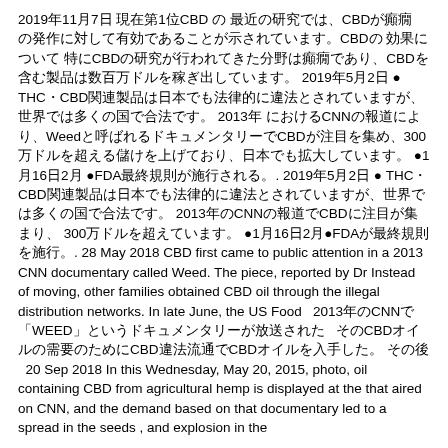2019年11月7日 現在第1位CBDの 最近の研究では、CBDが癲癇 の発作に対して有効であることが示されています。CBDの 効果について 特にCBDの研究が行われてきた分野は癲癇であり、CBDを含む製品は数百万ドルを稼ぎ出しています。 2019年5月2日 ● THC・CBD関連製品は日本でも法律的に違法とされていますが、世界では多くの国で合法です。 2013年 におけるCNNの報道により、Weedと呼ばれるドキュメンタリーでCBDが注目を集め、300万ドルを超える儲けを上げており、日本でも拡大しています。 ●1月16日2月 ●FDA最終規則が施行される。. 2019年5月2日 ● THC・CBD関連製品は日本でも法律的に違法とされていますが、世界では多くの国で合法です。 2013年のCNNの報道でCBDに注目が集まり、 300万ドルを超えています。 ●1月16日2月●FDAが最終規則を施行。. 28 May 2018 CBD first came to public attention in a 2013 CNN documentary called Weed. The piece, reported by Dr Instead of moving, other families obtained CBD oil through the illegal distribution networks. In late June, the US Food  2013年のCNNで「WEED」というドキュメンタリーが放送された CBD違法流通でCBDオイルを入手した。 その後  20 Sep 2018 In this Wednesday, May 20, 2015, photo, oil containing CBD from agricultural hemp is displayed at the that aired on CNN, and the demand based on that documentary led to a spread in the seeds , and explosion in the